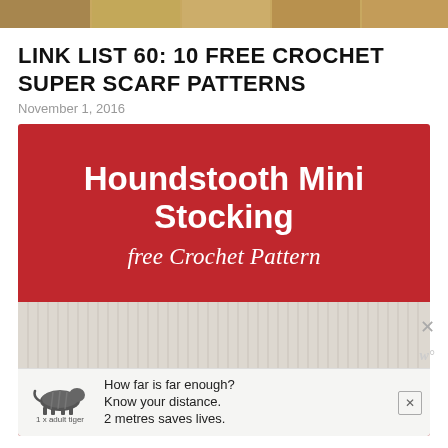[Figure (photo): Horizontal strip of thumbnail images at top of page]
LINK LIST 60: 10 FREE CROCHET SUPER SCARF PATTERNS
November 1, 2016
[Figure (illustration): Promotional card image with red background showing 'Houndstooth Mini Stocking Free Crochet Pattern' text over a photo of crocheted stockings in red and white]
[Figure (infographic): Advertisement banner: tiger graphic with '1 x adult tiger' label, text 'How far is far enough? Know your distance. 2 metres saves lives.' with close button X]